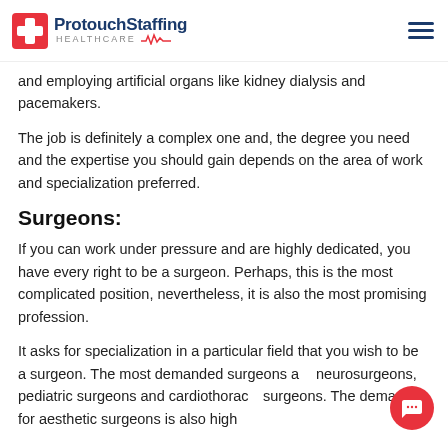Protouch Staffing Healthcare
and employing artificial organs like kidney dialysis and pacemakers.
The job is definitely a complex one and, the degree you need and the expertise you should gain depends on the area of work and specialization preferred.
Surgeons:
If you can work under pressure and are highly dedicated, you have every right to be a surgeon. Perhaps, this is the most complicated position, nevertheless, it is also the most promising profession.
It asks for specialization in a particular field that you wish to be a surgeon. The most demanded surgeons are neurosurgeons, pediatric surgeons and cardiothoracic surgeons. The demand for aesthetic surgeons is also high